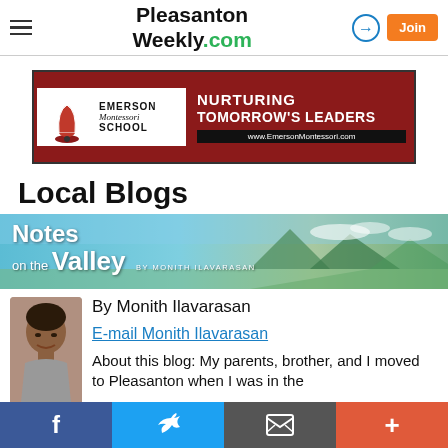PleasantonWeekly.com
[Figure (other): Emerson Montessori School advertisement banner — red background with bell logo, text: EMERSON Montessori SCHOOL | NURTURING TOMORROW'S LEADERS | www.EmersonMontessori.com]
Local Blogs
[Figure (illustration): Notes on the Valley blog banner — teal/blue sky and valley panorama background with white bold text: Notes on the Valley BY MONITH ILAVARASAN]
By Monith Ilavarasan
E-mail Monith Ilavarasan
About this blog: My parents, brother, and I moved to Pleasanton when I was in the
f  [Twitter bird]  [Email icon]  +